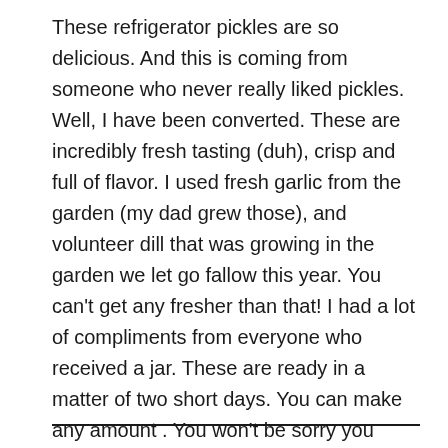These refrigerator pickles are so delicious. And this is coming from someone who never really liked pickles. Well, I have been converted. These are incredibly fresh tasting (duh), crisp and full of flavor. I used fresh garlic from the garden (my dad grew those), and volunteer dill that was growing in the garden we let go fallow this year. You can't get any fresher than that! I had a lot of compliments from everyone who received a jar. These are ready in a matter of two short days. You can make any amount . You won't be sorry you made these! If you have any extra cucumbers lying around, go make pickles!